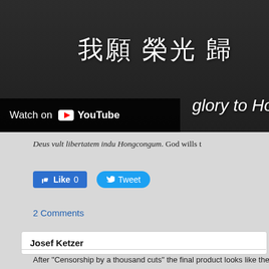[Figure (screenshot): YouTube video thumbnail showing Hong Kong protest anthem with Chinese characters '我願 榮光 歸' and English text 'glory to Hong Ko', with Watch on YouTube overlay bar]
Deus vult libertatem indu Hongcongum. God wills t
Like 0
Tweet
2 Comments
Josef Ketzer
After "Censorship by a thousand cuts" the final product looks like the comple